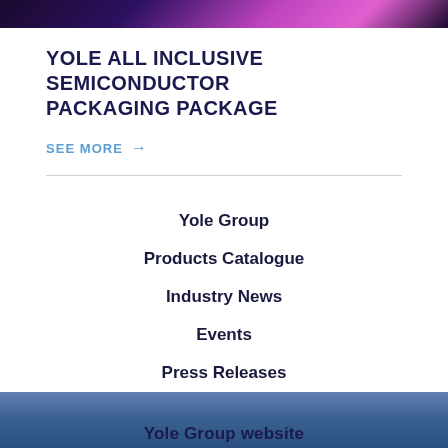[Figure (photo): Dark background with pink/purple glowing abstract semiconductor or neural network imagery]
YOLE ALL INCLUSIVE SEMICONDUCTOR PACKAGING PACKAGE
SEE MORE →
Yole Group
Products Catalogue
Industry News
Events
Press Releases
Careers
Yole Group website